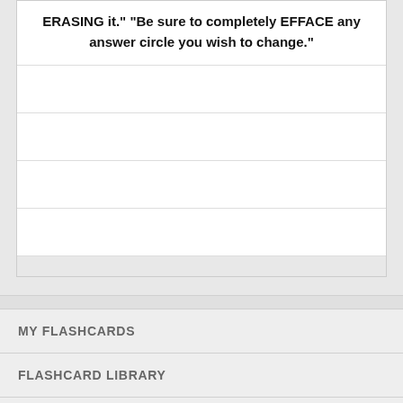ERASING it." "Be sure to completely EFFACE any answer circle you wish to change."
MY FLASHCARDS
FLASHCARD LIBRARY
BROWSE
ABOUT
HELP
MOBILE